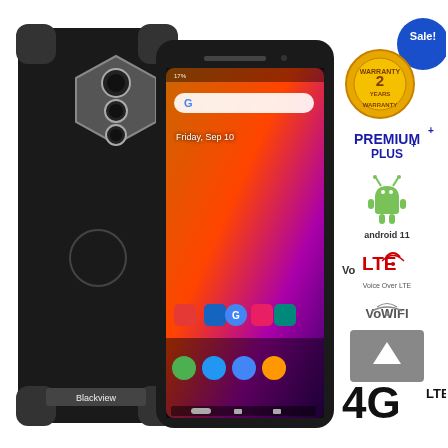[Figure (photo): Blackview rugged smartphone shown from the back-left angle with triple camera module and front screen showing Android 11 home screen with thermal/colorful display. The phone is black with reinforced corners. Screen shows Friday, Sep 10 and various app icons.]
[Figure (infographic): Sale! badge (blue circle), 2 Years Warranty gold badge, PREMIUM+ PLUS text badge, Android 11 logo, VoLTE Voice Over LTE logo, VoWiFi logo, scroll-up arrow box, 4G LTE text badge on the right side of the product image.]